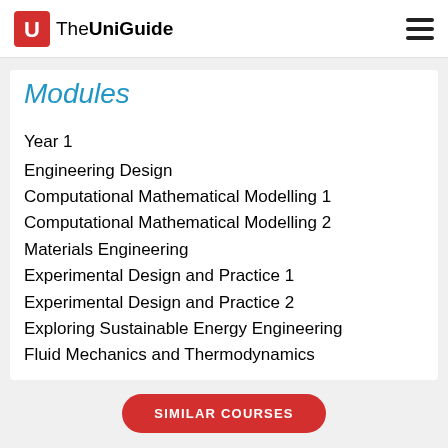TheUniGuide
Modules
Year 1
Engineering Design
Computational Mathematical Modelling 1
Computational Mathematical Modelling 2
Materials Engineering
Experimental Design and Practice 1
Experimental Design and Practice 2
Exploring Sustainable Energy Engineering
Fluid Mechanics and Thermodynamics
SIMILAR COURSES